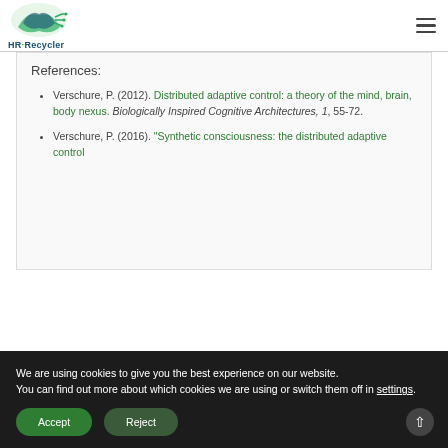HR-Recycler logo and navigation
References:
Verschure, P. (2012). Distributed adaptive control: a theory of the mind, brain, body nexus. Biologically Inspired Cognitive Architectures, 1, 55-72.
Verschure, P. (2016). "Synthetic consciousness: the distributed adaptive control
We are using cookies to give you the best experience on our website.
You can find out more about which cookies we are using or switch them off in settings.